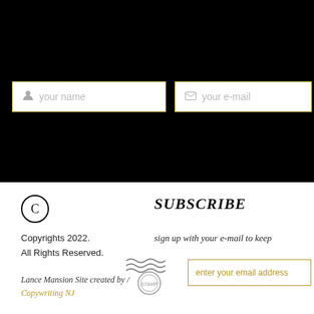[Figure (screenshot): Black background section at top of page with two input fields: 'your name' and 'your e-mail', both with gold borders]
©
SUBSCRIBE
Copyrights 2022.
All Rights Reserved.
sign up with your e-mail to keep
[Figure (illustration): Postage stamp illustration with wave lines]
enter your email address
Lance Mansion Site created by /
Copywriting NJ